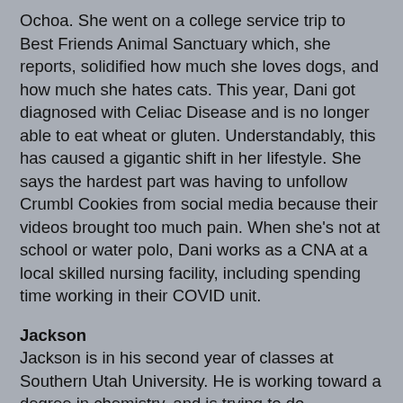Ochoa. She went on a college service trip to Best Friends Animal Sanctuary which, she reports, solidified how much she loves dogs, and how much she hates cats. This year, Dani got diagnosed with Celiac Disease and is no longer able to eat wheat or gluten. Understandably, this has caused a gigantic shift in her lifestyle. She says the hardest part was having to unfollow Crumbl Cookies from social media because their videos brought too much pain. When she's not at school or water polo, Dani works as a CNA at a local skilled nursing facility, including spending time working in their COVID unit.
Jackson
Jackson is in his second year of classes at Southern Utah University. He is working toward a degree in chemistry, and is trying to do everything he can to be in a good position to apply for medical school. His girlfriend is named Organic Chemistry, and they spend ALL their time together. I think this organic chemistry class has taken three years off his life. The fact that people find this stuff enjoyable is unfathomable to me. He uses his expertise and education by working part time in the SUU Water Lab. They do water testing for all of